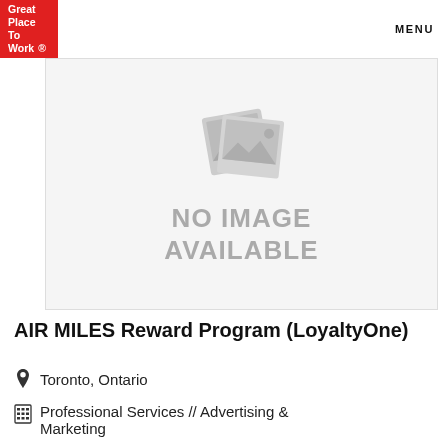Great Place To Work. MENU
[Figure (illustration): No image available placeholder with two overlapping photo icons showing mountain/landscape silhouette, with text 'NO IMAGE AVAILABLE']
AIR MILES Reward Program (LoyaltyOne)
Toronto, Ontario
Professional Services // Advertising & Marketing